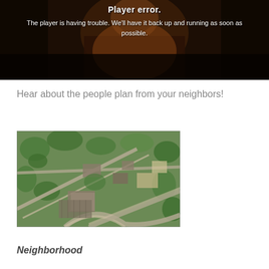[Figure (screenshot): Player error screen with dark background showing a person in orange/brown lighting. Text overlay reads 'Player error.' and 'The player is having trouble. We'll have it back up and running as soon as possible.']
Hear about the people plan from your neighbors!
[Figure (photo): Aerial photograph of a suburban neighborhood showing streets, buildings, trees, and open lots from above.]
Neighborhood